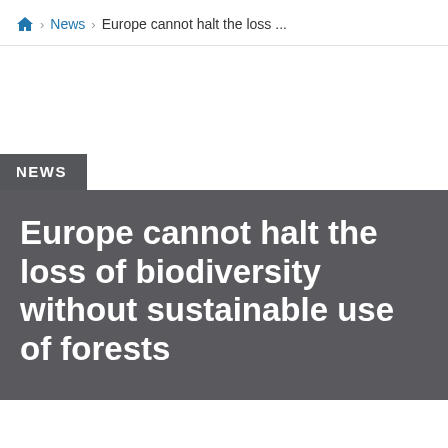Home > News > Europe cannot halt the loss ...
NEWS
Europe cannot halt the loss of biodiversity without sustainable use of forests